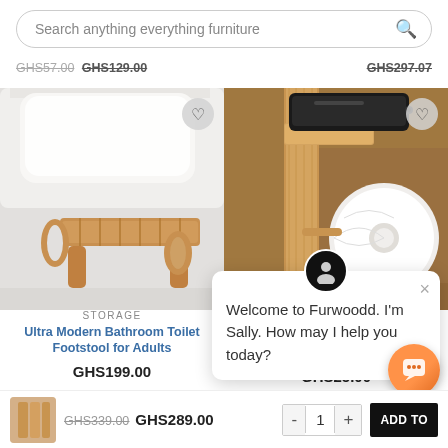Search anything everything furniture
GHS57.00  GHS129.00   GHS297.07
[Figure (photo): Bamboo toilet footstool/squat stool in front of a white toilet]
STORAGE
Ultra Modern Bathroom Toilet Footstool for Adults
GHS199.00
[Figure (photo): Wooden toilet paper holder with phone shelf, phone on top and toilet roll visible]
GHS25.00
Welcome to Furwoodd. I'm Sally. How may I help you today?
GHS339.00  GHS289.00
- 1 + ADD TO